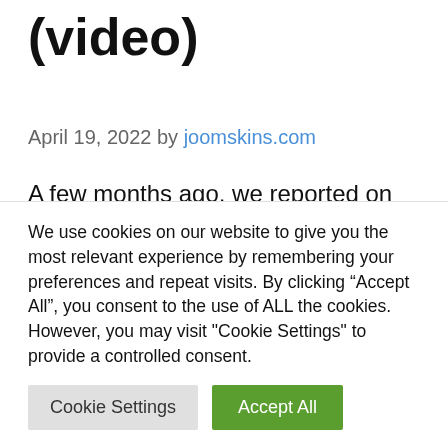(video)
April 19, 2022 by joomskins.com
A few months ago, we reported on the achievement. The YouTube user on Exploring the Simulation managed to hack the iPhone X and put a Lightning port on it. The
We use cookies on our website to give you the most relevant experience by remembering your preferences and repeat visits. By clicking “Accept All”, you consent to the use of ALL the cookies. However, you may visit "Cookie Settings" to provide a controlled consent.